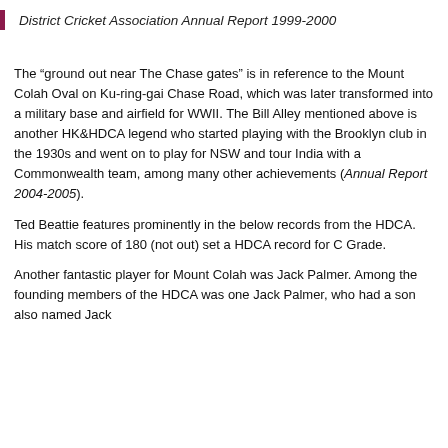District Cricket Association Annual Report 1999-2000
The “ground out near The Chase gates” is in reference to the Mount Colah Oval on Ku-ring-gai Chase Road, which was later transformed into a military base and airfield for WWII. The Bill Alley mentioned above is another HK&HDCA legend who started playing with the Brooklyn club in the 1930s and went on to play for NSW and tour India with a Commonwealth team, among many other achievements (Annual Report 2004-2005).
Ted Beattie features prominently in the below records from the HDCA. His match score of 180 (not out) set a HDCA record for C Grade.
Another fantastic player for Mount Colah was Jack Palmer. Among the founding members of the HDCA was one Jack Palmer, who had a son also named Jack